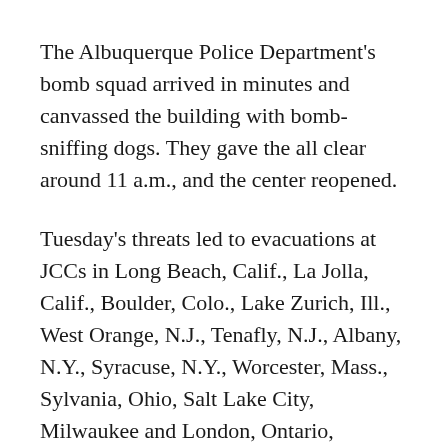The Albuquerque Police Department’s bomb squad arrived in minutes and canvassed the building with bomb-sniffing dogs. They gave the all clear around 11 a.m., and the center reopened.
Tuesday’s threats led to evacuations at JCCs in Long Beach, Calif., La Jolla, Calif., Boulder, Colo., Lake Zurich, Ill., West Orange, N.J., Tenafly, N.J., Albany, N.Y., Syracuse, N.Y., Worcester, Mass., Sylvania, Ohio, Salt Lake City, Milwaukee and London, Ontario, Canada.
Simon said the sentiment behind the calls is nothing new.
“I think it’s part of a growing trend in anti-Semitism around the country,” he said. “We need to fight back